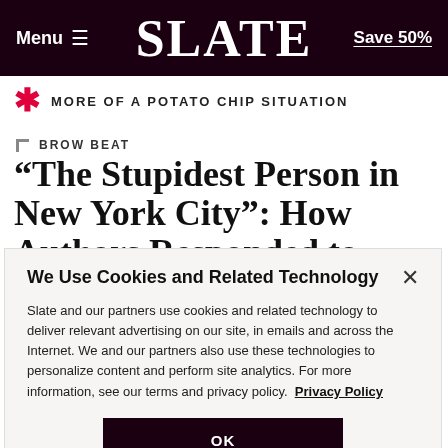Menu  SLATE  Save 50%
MORE OF A POTATO CHIP SITUATION
BROW BEAT
“The Stupidest Person in New York City”: How Authors Responded to Michiko
We Use Cookies and Related Technology
Slate and our partners use cookies and related technology to deliver relevant advertising on our site, in emails and across the Internet. We and our partners also use these technologies to personalize content and perform site analytics. For more information, see our terms and privacy policy.  Privacy Policy
OK